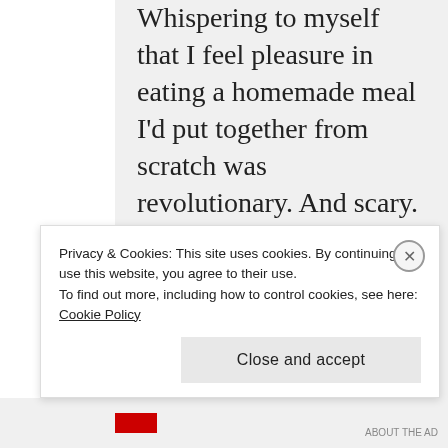Whispering to myself that I feel pleasure in eating a homemade meal I’d put together from scratch was revolutionary. And scary. It felt dirty and wrong and carnal.
Doesn’t God hate carnal?
Learning to acknowledge body pleasure, in its various forms, as GOOD is
Privacy & Cookies: This site uses cookies. By continuing to use this website, you agree to their use.
To find out more, including how to control cookies, see here: Cookie Policy
Close and accept